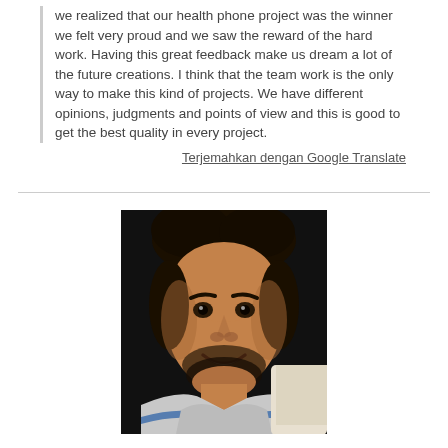we realized that our health phone project was the winner we felt very proud and we saw the reward of the hard work. Having this great feedback make us dream a lot of the future creations. I think that the team work is the only way to make this kind of projects. We have different opinions, judgments and points of view and this is good to get the best quality in every project.
Terjemahkan dengan Google Translate
[Figure (photo): Portrait photo of a young man with curly dark hair and a beard, smiling at the camera, wearing a light grey hoodie with a blue stripe. Dark background.]